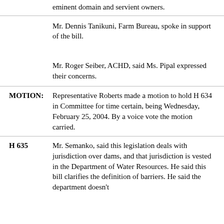eminent domain and servient owners.
Mr. Dennis Tanikuni, Farm Bureau, spoke in support of the bill.
Mr. Roger Seiber, ACHD, said Ms. Pipal expressed their concerns.
MOTION: Representative Roberts made a motion to hold H 634 in Committee for time certain, being Wednesday, February 25, 2004. By a voice vote the motion carried.
H 635 Mr. Semanko, said this legislation deals with jurisdiction over dams, and that jurisdiction is vested in the Department of Water Resources. He said this bill clarifies the definition of barriers. He said the department doesn't